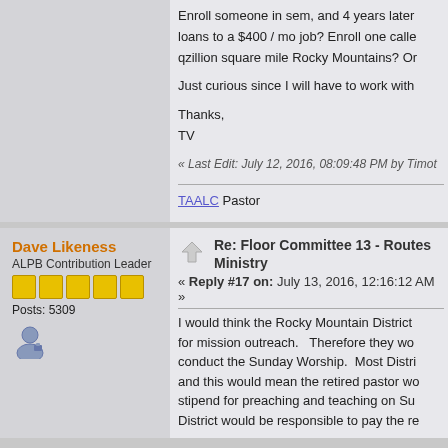Enroll someone in sem, and 4 years later loans to a $400 / mo job? Enroll one calle qzillion square mile Rocky Mountains? Or
Just curious since I will have to work with
Thanks,
TV
« Last Edit: July 12, 2016, 08:09:48 PM by Timot
TAALC Pastor
Dave Likeness
ALPB Contribution Leader
Posts: 5309
Re: Floor Committee 13 - Routes Ministry
« Reply #17 on: July 13, 2016, 12:16:12 AM »
I would think the Rocky Mountain District for mission outreach.   Therefore they wo conduct the Sunday Worship.  Most Distri and this would mean the retired pastor wo stipend for preaching and teaching on Su District would be responsible to pay the re